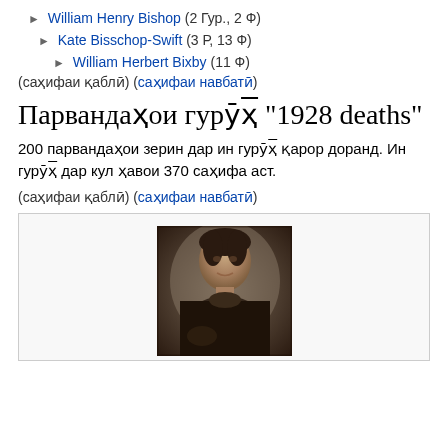► William Henry Bishop (2 Гур., 2 Ф)
► Kate Bisschop-Swift (3 Р, 13 Ф)
► William Herbert Bixby (11 Ф)
(саҳифаи қаблӣ) (саҳифаи навбатӣ)
Парвандаҳои гурӯҳ "1928 deaths"
200 парвандаҳои зерин дар ин гурӯҳ қарор доранд. Ин гурӯҳ дар кул ҳавои 370 саҳифа аст.
(саҳифаи қаблӣ) (саҳифаи навбатӣ)
[Figure (photo): Vintage black and white portrait photograph of a woman in Victorian-era clothing, seated, with dark hair]